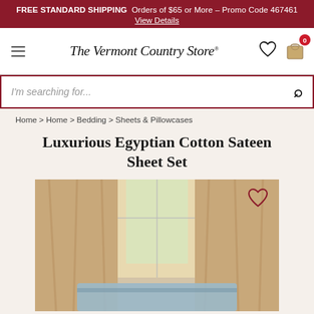FREE STANDARD SHIPPING Orders of $65 or More – Promo Code 467461
View Details
[Figure (logo): The Vermont Country Store logo with heart wishlist icon and shopping bag with count 0]
I'm searching for...
Home > Home > Bedding > Sheets & Pillowcases
Luxurious Egyptian Cotton Sateen Sheet Set
[Figure (photo): Photo of bed with light blue Egyptian cotton sateen sheets near a window with tan curtains and natural light]